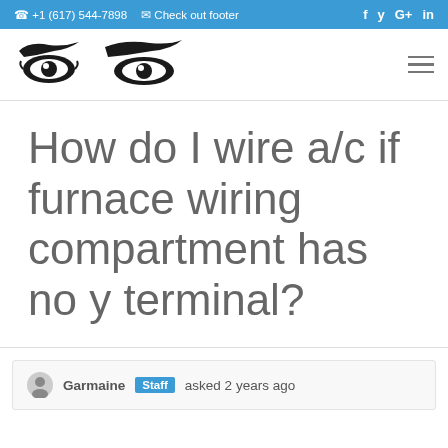+1 (617) 544-7898  Check out footer  f  y  G+  in
[Figure (logo): Two stylized eyes logo (eyebrows and eyes illustration) in black ink]
How do I wire a/c if furnace wiring compartment has no y terminal?
Garmaine  Staff  asked 2 years ago